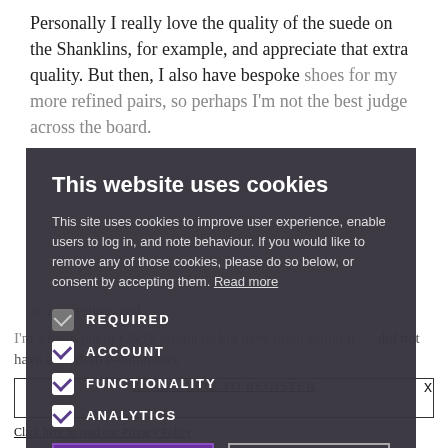Personally I really love the quality of the suede on the Shanklins, for example, and appreciate that extra quality. But then, I also have bespoke shoes for my more refined pairs, so perhaps I'm not the best judge across the board.
This website uses cookies
This site uses cookies to improve user experience, enable users to log in, and note behaviour. If you would like to remove any of those cookies, please do so below, or consent by accepting them. Read more
REQUIRED
ACCOUNT
FUNCTIONALITY
ANALYTICS
ACCEPT ALL
DECLINE ALL
x
The … an interesting read.
I'm a huge fan of C&J's products, but have often found it … did not have a modern e-commerce
The … Fashion Style News … ich.
CLICK HERE TO REGISTER
Click here to read our Privacy Policy